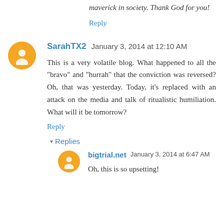maverick in society. Thank God for you!
Reply
SarahTX2   January 3, 2014 at 12:10 AM
This is a very volatile blog. What happened to all the "bravo" and "hurrah" that the conviction was reversed? Oh, that was yesterday. Today, it's replaced with an attack on the media and talk of ritualistic humiliation. What will it be tomorrow?
Reply
▾ Replies
bigtrial.net   January 3, 2014 at 6:47 AM
Oh, this is so upsetting!